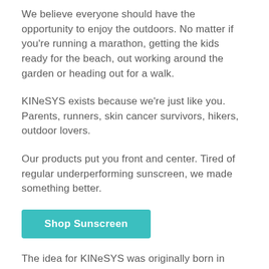We believe everyone should have the opportunity to enjoy the outdoors. No matter if you're running a marathon, getting the kids ready for the beach, out working around the garden or heading out for a walk.
KINeSYS exists because we're just like you. Parents, runners, skin cancer survivors, hikers, outdoor lovers.
Our products put you front and center. Tired of regular underperforming sunscreen, we made something better.
Shop Sunscreen
The idea for KINeSYS was originally born in 1995 in response to the lack of quality sunscreen